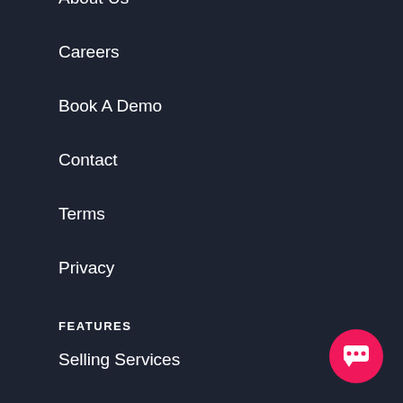About Us
Careers
Book A Demo
Contact
Terms
Privacy
FEATURES
Selling Services
Direct Bookings
How to Create a Brand
Guest Management
SECTORS WE SERVE
[Figure (illustration): Pink circular chat button with speech bubble icon in bottom right corner]